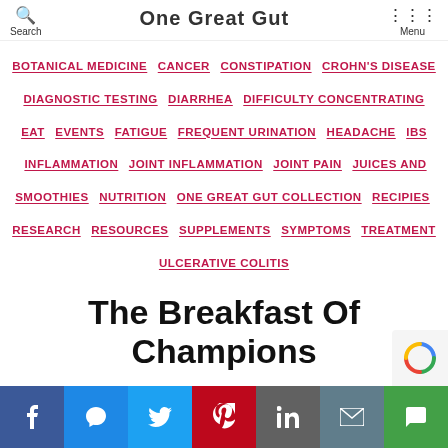Search | One Great Gut | Menu
BOTANICAL MEDICINE  CANCER  CONSTIPATION  CROHN'S DISEASE  DIAGNOSTIC TESTING  DIARRHEA  DIFFICULTY CONCENTRATING  EAT  EVENTS  FATIGUE  FREQUENT URINATION  HEADACHE  IBS  INFLAMMATION  JOINT INFLAMMATION  JOINT PAIN  JUICES AND SMOOTHIES  NUTRITION  ONE GREAT GUT COLLECTION  RECIPIES  RESEARCH  RESOURCES  SUPPLEMENTS  SYMPTOMS  TREATMENT  ULCERATIVE COLITIS
The Breakfast Of Champions